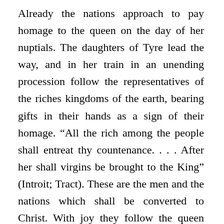Already the nations approach to pay homage to the queen on the day of her nuptials. The daughters of Tyre lead the way, and in her train in an unending procession follow the representatives of the riches kingdoms of the earth, bearing gifts in their hands as a sign of their homage. “All the rich among the people shall entreat thy countenance. . . . After her shall virgins be brought to the King” (Introit; Tract). These are the men and the nations which shall be converted to Christ. With joy they follow the queen (Mary, the Church) and enter into the chambers of the King. They shall share with her now her supernatural gifts and graces as they will one day share with her forever and ever the joys of eternity. “They shall be